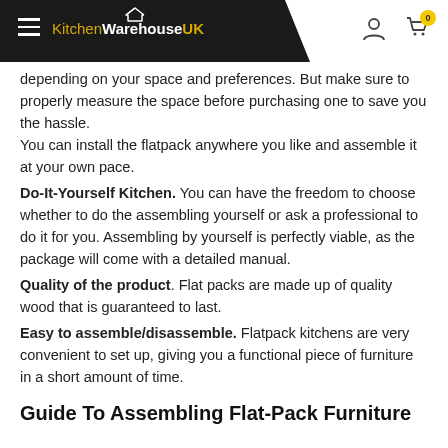KitchenWarehouseUK
depending on your space and preferences. But make sure to properly measure the space before purchasing one to save you the hassle.
You can install the flatpack anywhere you like and assemble it at your own pace.
Do-It-Yourself Kitchen. You can have the freedom to choose whether to do the assembling yourself or ask a professional to do it for you. Assembling by yourself is perfectly viable, as the package will come with a detailed manual.
Quality of the product. Flat packs are made up of quality wood that is guaranteed to last.
Easy to assemble/disassemble. Flatpack kitchens are very convenient to set up, giving you a functional piece of furniture in a short amount of time.
Guide To Assembling Flat-Pack Furniture